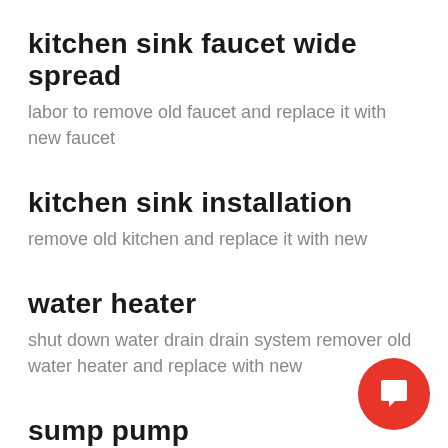kitchen sink faucet wide spread
labor to remove old faucet and replace it with new faucet
kitchen sink installation
remove old kitchen and replace it with new
water heater
shut down water drain drain system remover old water heater and replace with new
sump pump installation/replacement
remove old sump pump and replace with new or